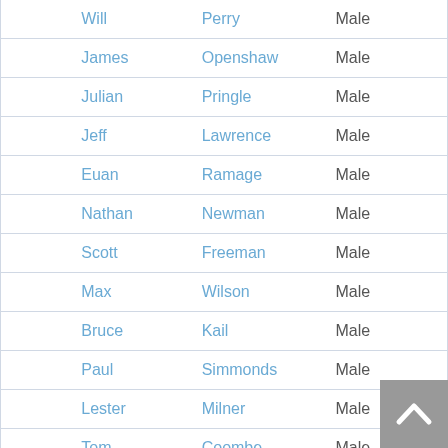|  | First Name | Last Name | Gender |  |
| --- | --- | --- | --- | --- |
|  | Will | Perry | Male |  |
|  | James | Openshaw | Male |  |
|  | Julian | Pringle | Male |  |
|  | Jeff | Lawrence | Male |  |
|  | Euan | Ramage | Male |  |
|  | Nathan | Newman | Male |  |
|  | Scott | Freeman | Male |  |
|  | Max | Wilson | Male |  |
|  | Bruce | Kail | Male |  |
|  | Paul | Simmonds | Male |  |
|  | Lester | Milner | Male |  |
|  | Tom | Coombe | Male |  |
|  | Mark | Patrick | Male |  |